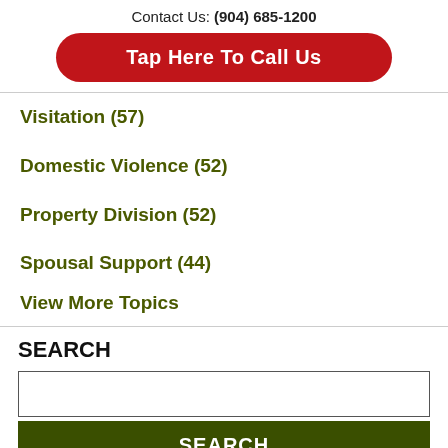Contact Us: (904) 685-1200
Tap Here To Call Us
Visitation (57)
Domestic Violence (52)
Property Division (52)
Spousal Support (44)
View More Topics
SEARCH
SEARCH